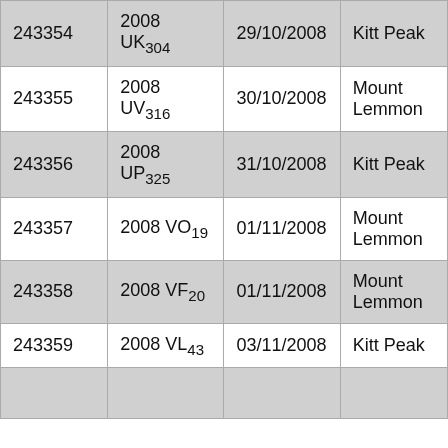| 243354 | 2008 UK304 | 29/10/2008 | Kitt Peak |
| 243355 | 2008 UV316 | 30/10/2008 | Mount Lemmon |
| 243356 | 2008 UP325 | 31/10/2008 | Kitt Peak |
| 243357 | 2008 VO19 | 01/11/2008 | Mount Lemmon |
| 243358 | 2008 VF20 | 01/11/2008 | Mount Lemmon |
| 243359 | 2008 VL43 | 03/11/2008 | Kitt Peak |
|  |  |  |  |